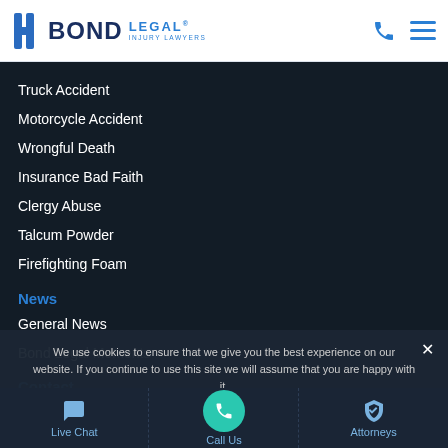BOND LEGAL® INJURY LAWYERS
Truck Accident
Motorcycle Accident
Wrongful Death
Insurance Bad Faith
Clergy Abuse
Talcum Powder
Firefighting Foam
News
General News
Bond Legal Moments
Contact
We use cookies to ensure that we give you the best experience on our website. If you continue to use this site we will assume that you are happy with it.
Ok
Live Chat | Call Us | Attorneys